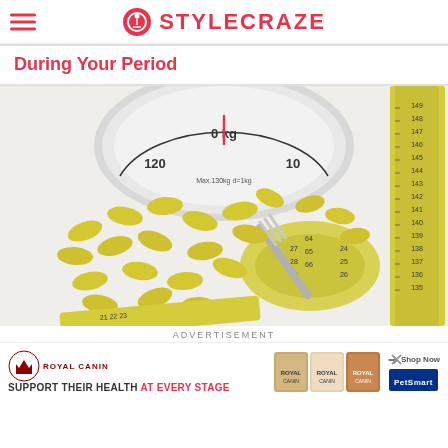STYLECRAZE
During Your Period
[Figure (photo): A bathroom weight scale showing 0 kg dial, surrounded by yellow oval supplement capsules, a silver fork, and a yellow measuring tape on a white background.]
ADVERTISEMENT
[Figure (other): Royal Canin advertisement banner: Royal Canin logo with crown, tagline 'SUPPORT THEIR HEALTH AT EVERY STAGE', pet food product images, and PetSmart logo with Shop Now button.]